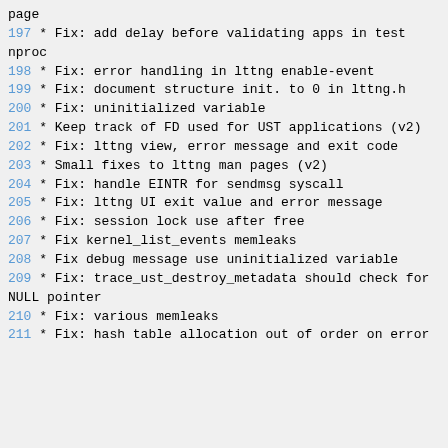page
197    * Fix: add delay before validating apps in test nproc
198    * Fix: error handling in lttng enable-event
199    * Fix: document structure init. to 0 in lttng.h
200    * Fix: uninitialized variable
201    * Keep track of FD used for UST applications (v2)
202    * Fix: lttng view, error message and exit code
203    * Small fixes to lttng man pages (v2)
204    * Fix: handle EINTR for sendmsg syscall
205    * Fix: lttng UI exit value and error message
206    * Fix: session lock use after free
207    * Fix kernel_list_events memleaks
208    * Fix debug message use uninitialized variable
209    * Fix: trace_ust_destroy_metadata should check for NULL pointer
210    * Fix: various memleaks
211    * Fix: hash table allocation out of order on error